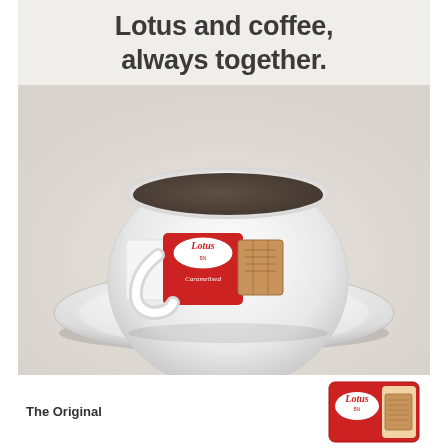Lotus and coffee, always together.
[Figure (photo): A white coffee cup on a saucer with a Lotus Caramelised biscuit packet held in the cup's arm/handle, against a light beige background.]
[Figure (photo): Bottom portion showing Lotus biscuit product packaging and the text 'The Original']
The Original